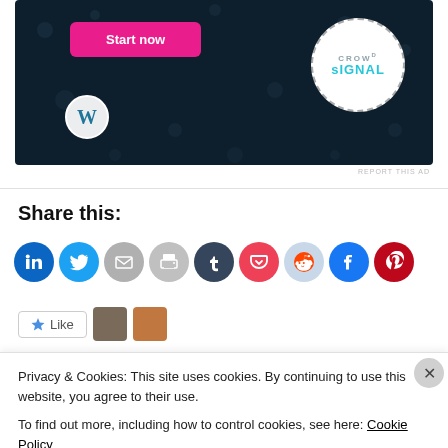[Figure (screenshot): Advertisement banner with dark blue background, pink 'Start now' button, WordPress logo, and Crowdsignal logo circle with dashed border.]
REPORT THIS AD
Share this:
[Figure (infographic): Row of 9 social sharing icon circles: LinkedIn (blue), Twitter (blue), Email (gray), Print (gray), Tumblr (dark navy), Pocket (red), Reddit (light blue), Facebook (blue), Pinterest (red).]
[Figure (screenshot): Like button widget with star icon and two user profile thumbnails visible.]
Privacy & Cookies: This site uses cookies. By continuing to use this website, you agree to their use.
To find out more, including how to control cookies, see here: Cookie Policy
Close and accept